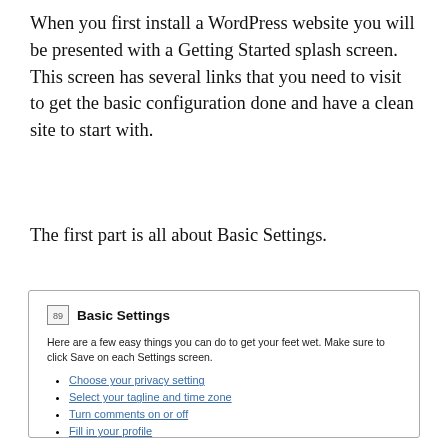When you first install a WordPress website you will be presented with a Getting Started splash screen. This screen has several links that you need to visit to get the basic configuration done and have a clean site to start with.
The first part is all about Basic Settings.
[Figure (screenshot): WordPress admin screen showing 'Basic Settings' panel with icon, description text, and four bullet links: Choose your privacy setting, Select your tagline and time zone, Turn comments on or off, Fill in your profile]